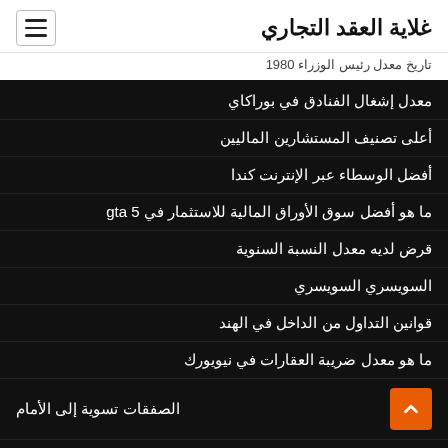غلاية العقد التجاري
تاريخ معدل رئيس الوزراء 1980
معدل إشغال الفنادق في بوراكاي
أعلى تصنيف المستشارين الماليين
أفضل الوسطاء عبر الإنترنت كندا
ما هو أفضل سوق الأوراق المالية للاستثمار في gta 5
قرض لديه معدل النسبة السنوية
السويسري السويسري
قوانين التداول من الداخل في الهند
ما هو معدل ضريبة العقارات في نيويورك
الصفقات تسوية إلى الأمام
مشاهدة الجمعة السمراء على الإنترنت